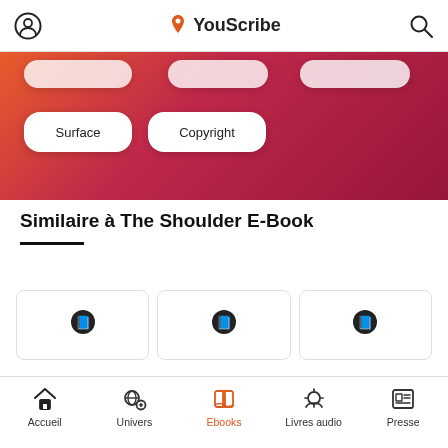YouScribe
[Figure (screenshot): Gradient banner with pill-shaped category buttons: Surface, Copyright]
Similaire à The Shoulder E-Book
[Figure (screenshot): Row of three book cover cards with book icons, partially visible]
Accueil | Univers | Ebooks | Livres audio | Presse